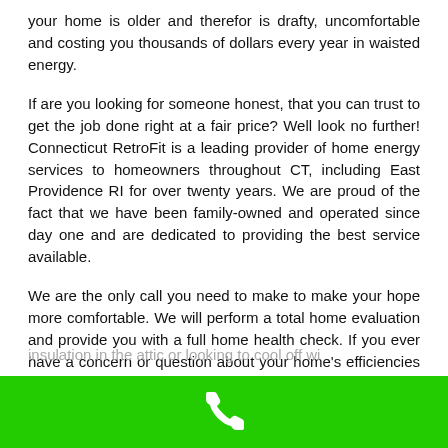your home is older and therefor is drafty, uncomfortable and costing you thousands of dollars every year in waisted energy.
If are you looking for someone honest, that you can trust to get the job done right at a fair price? Well look no further! Connecticut RetroFit is a leading provider of home energy services to homeowners throughout CT, including East Providence RI for over twenty years. We are proud of the fact that we have been family-owned and operated since day one and are dedicated to providing the best service available.
We are the only call you need to make to make your hope more comfortable. We will perform a total home evaluation and provide you with a full home health check. If you ever have a concern or question about your home's efficiencies or if you are considering adding a ductless heat pump, insulation in the attic or looking to cool off wi...